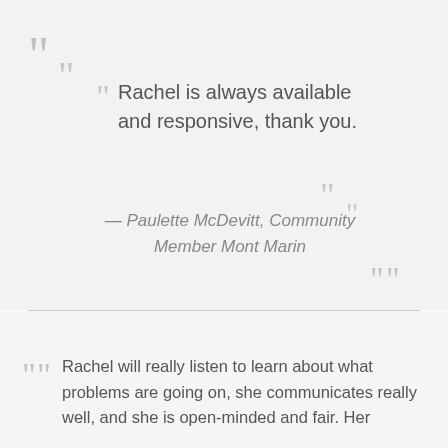Rachel is always available and responsive, thank you.
— Paulette McDevitt, Community Member Mont Marin
Rachel will really listen to learn about what problems are going on, she communicates really well, and she is open-minded and fair. Her